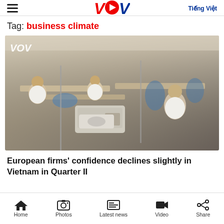VOV — Tiếng Việt
Tag: business climate
[Figure (photo): Factory floor with workers at sewing machines in a garment manufacturing facility. Workers wearing white uniforms and face masks. VOV logo watermark in top left corner.]
European firms' confidence declines slightly in Vietnam in Quarter II
Home | Photos | Latest news | Video | Share